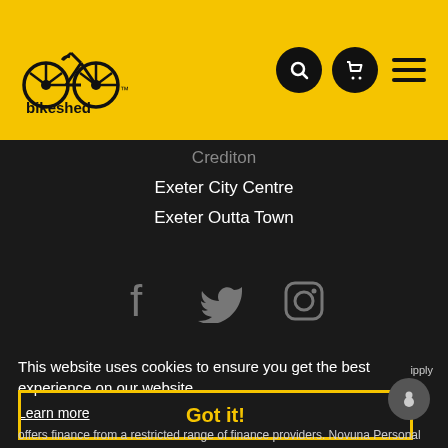[Figure (logo): Bikeshed logo on yellow header bar with search, cart, and hamburger menu icons]
Crediton
Exeter City Centre
Exeter Outta Town
[Figure (infographic): Social media icons: Facebook, Twitter, Instagram]
This website uses cookies to ensure you get the best experience on our website.
Learn more
Got it!
offers finance from a restricted range of finance providers. Novuna Personal